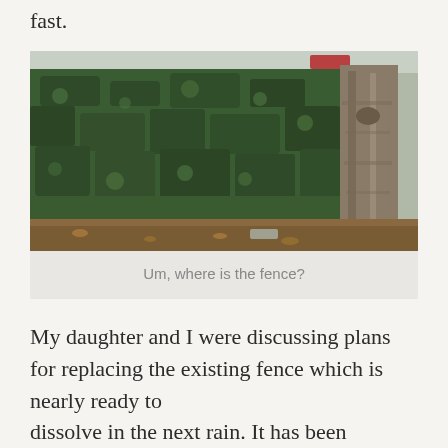fast.
[Figure (photo): A dense ivy-covered wall or fence completely hidden by thick green ivy/vine growth. A large tree trunk is visible on the right side. Dead leaves are scattered on the ground beneath.]
Um, where is the fence?
My daughter and I were discussing plans for replacing the existing fence which is nearly ready to dissolve in the next rain. It has been